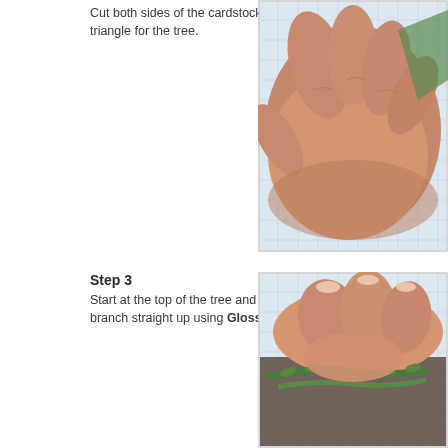Cut both sides of the cardstock to form the triangle for the tree.
[Figure (photo): Close-up photo of hands manipulating green cardstock paper to form a tree shape, shown against a graph paper background.]
Step 3
Start at the top of the tree and attach the first punched branch straight up using Glossy Accents.
[Figure (photo): Close-up photo of hands attaching a punched green branch piece to a cardstock tree using adhesive, on a graph paper background.]